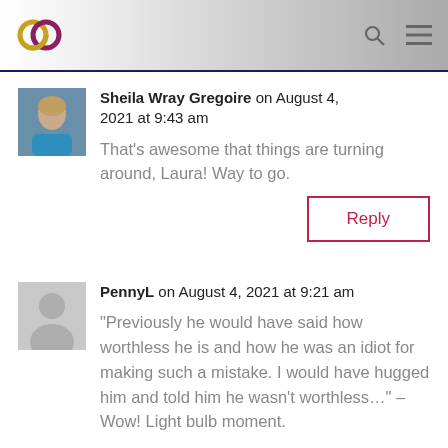[Figure (logo): Circular interlocking rings logo in gold and purple/burgundy]
Sheila Wray Gregoire on August 4, 2021 at 9:43 am
That’s awesome that things are turning around, Laura! Way to go.
Reply
PennyL on August 4, 2021 at 9:21 am
“Previously he would have said how worthless he is and how he was an idiot for making such a mistake. I would have hugged him and told him he wasn’t worthless…” – Wow! Light bulb moment.